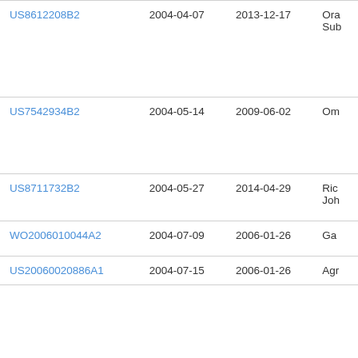| Patent | Filing Date | Publication Date | Assignee/Author |
| --- | --- | --- | --- |
| US8612208B2 | 2004-04-07 | 2013-12-17 | Ora Sub |
| US7542934B2 | 2004-05-14 | 2009-06-02 | Om |
| US8711732B2 | 2004-05-27 | 2014-04-29 | Ric Joh |
| WO2006010044A2 | 2004-07-09 | 2006-01-26 | Ga |
| US20060020886A1 | 2004-07-15 | 2006-01-26 | Agr |